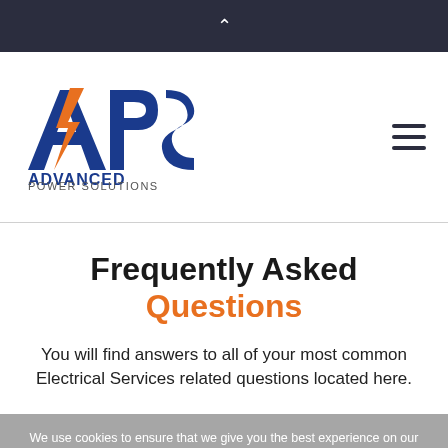Advanced Power Solutions – navigation header with logo and hamburger menu
Frequently Asked Questions
You will find answers to all of your most common Electrical Services related questions located here.
We use cookies to ensure that we give you the best experience on our website. If you continue to use this site we will assume that you are happy with it.
Does conduit need to go inside the transformer box?